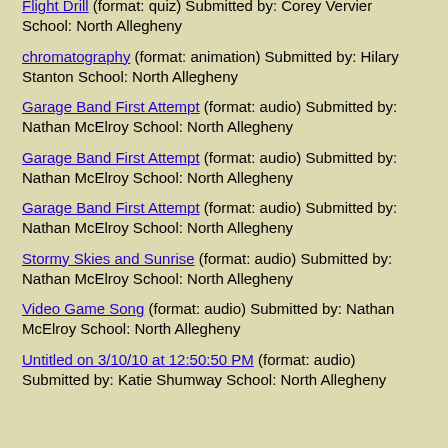Flight Drill (format: quiz) Submitted by: Corey Vervier School: North Allegheny
chromatography (format: animation) Submitted by: Hilary Stanton School: North Allegheny
Garage Band First Attempt (format: audio) Submitted by: Nathan McElroy School: North Allegheny
Garage Band First Attempt (format: audio) Submitted by: Nathan McElroy School: North Allegheny
Garage Band First Attempt (format: audio) Submitted by: Nathan McElroy School: North Allegheny
Stormy Skies and Sunrise (format: audio) Submitted by: Nathan McElroy School: North Allegheny
Video Game Song (format: audio) Submitted by: Nathan McElroy School: North Allegheny
Untitled on 3/10/10 at 12:50:50 PM (format: audio) Submitted by: Katie Shumway School: North Allegheny